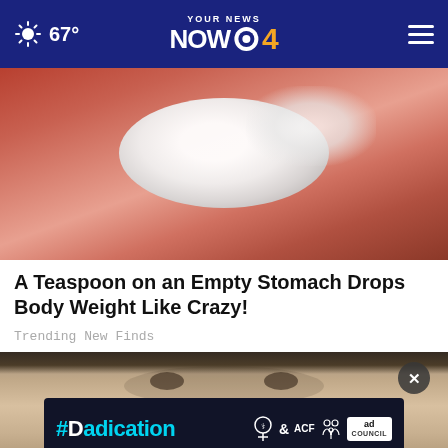YOUR NEWS NOW CBS 4 | 67°
[Figure (photo): Close-up photo of a hand holding white powder or granules (salt/supplement)]
A Teaspoon on an Empty Stomach Drops Body Weight Like Crazy!
Trending New Finds
[Figure (photo): Close-up of a person's face (eyes and forehead visible), with a #Dadication ad banner overlay at the bottom featuring HHS, ACF, National Responsible Fatherhood Clearinghouse, and Ad Council logos]